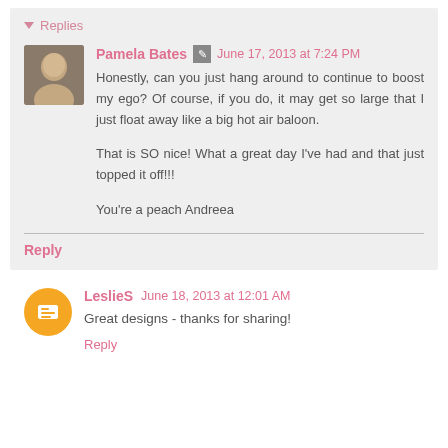▾ Replies
Pamela Bates  June 17, 2013 at 7:24 PM
Honestly, can you just hang around to continue to boost my ego? Of course, if you do, it may get so large that I just float away like a big hot air baloon.

That is SO nice! What a great day I've had and that just topped it off!!!

You're a peach Andreea
Reply
LeslieS  June 18, 2013 at 12:01 AM
Great designs - thanks for sharing!
Reply